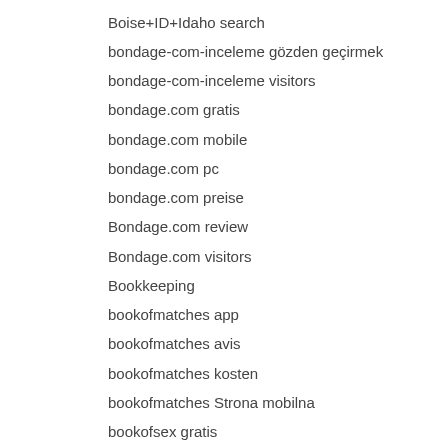Boise+ID+Idaho search
bondage-com-inceleme gözden geçirmek
bondage-com-inceleme visitors
bondage.com gratis
bondage.com mobile
bondage.com pc
bondage.com preise
Bondage.com review
Bondage.com visitors
Bookkeeping
bookofmatches app
bookofmatches avis
bookofmatches kosten
bookofmatches Strona mobilna
bookofsex gratis